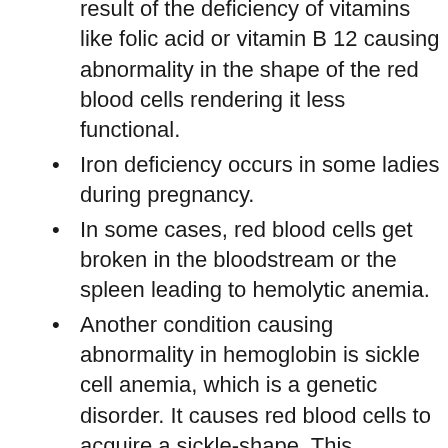result of the deficiency of vitamins like folic acid or vitamin B 12 causing abnormality in the shape of the red blood cells rendering it less functional.
Iron deficiency occurs in some ladies during pregnancy.
In some cases, red blood cells get broken in the bloodstream or the spleen leading to hemolytic anemia.
Another condition causing abnormality in hemoglobin is sickle cell anemia, which is a genetic disorder. It causes red blood cells to acquire a sickle-shape. This abnormal shape causes them to stop flowing through certain smaller blood vessels.
Sometimes abnormalities in the immune system cause anemia as in